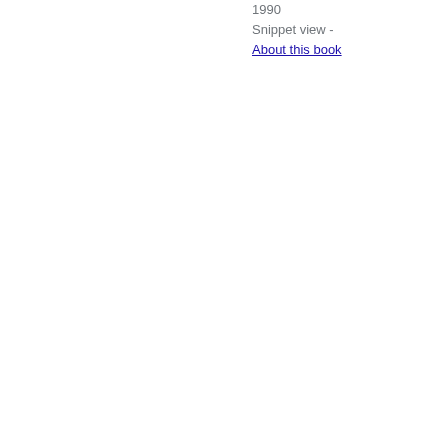1990
Snippet view -
About this book
[Figure (illustration): Thumbnail image of book cover for Proceedings of the ... International Conference on ..., Volume 9, Part 2]
Proceedings of the ... International Conference on ..., Volume 9, Part 2
Arctic regions - 1990
Snippet view -
About this book
[Figure (illustration): Thumbnail image of book cover for Proceedings of the ... International Conference on Offshore ..., Volume 9]
Proceedings of the ... International Conference on Offshore ..., Volume 9
Arctic regions - 1990
Snippet view -